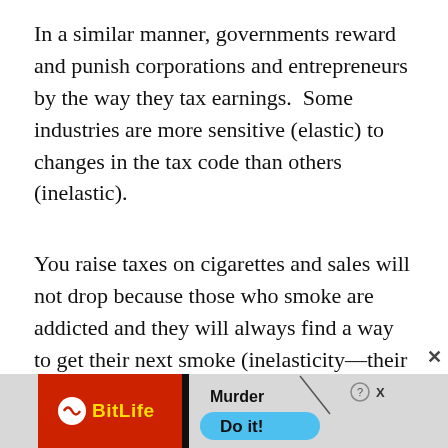In a similar manner, governments reward and punish corporations and entrepreneurs by the way they tax earnings.  Some industries are more sensitive (elastic) to changes in the tax code than others (inelastic).
You raise taxes on cigarettes and sales will not drop because those who smoke are addicted and they will always find a way to get their next smoke (inelasticity—their behavior is not sensitive to price).  But if you raise taxes on sodas, sales will
[Figure (other): BitLife mobile game advertisement banner with red background, yellow BitLife logo text, dividing black bar, and Murder/Do it! call to action on grey/blue background with close X button]